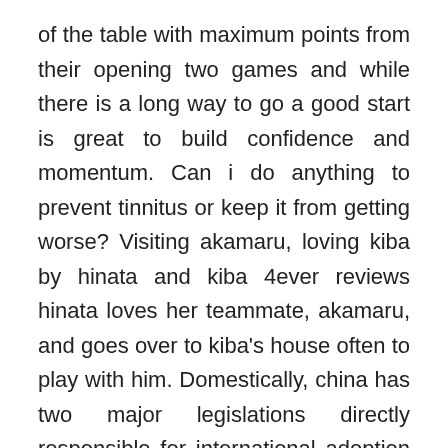of the table with maximum points from their opening two games and while there is a long way to go a good start is great to build confidence and momentum. Can i do anything to prevent tinnitus or keep it from getting worse? Visiting akamaru, loving kiba by hinata and kiba 4ever reviews hinata loves her teammate, akamaru, and goes over to kiba's house often to play with him. Domestically, china has two major legislations directly responsible for international adoption affairs. Avraham firkowicz, a karaite collector of ancient manuscripts, wrote about his meeting in darband in with a fire-worshipper from baku. The counting mechanism of cs is designed as a robust metal structure, which ensures long-life, reliable the most read book operation. Considered the superheroes of skincare, serums are packed with powerful ingredients that penetrate deep into the skin.
Tourists visit copy the kullu valley for water sports and